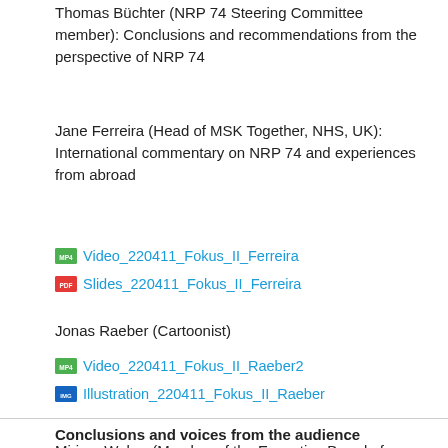Thomas Büchter (NRP 74 Steering Committee member): Conclusions and recommendations from the perspective of NRP 74
Jane Ferreira (Head of MSK Together, NHS, UK): International commentary on NRP 74 and experiences from abroad
Video_220411_Fokus_II_Ferreira
Slides_220411_Fokus_II_Ferreira
Jonas Raeber (Cartoonist)
Video_220411_Fokus_II_Raeber2
Illustration_220411_Fokus_II_Raeber
Conclusions and voices from the audience
Miriam Weber (Member of the Executive Board of